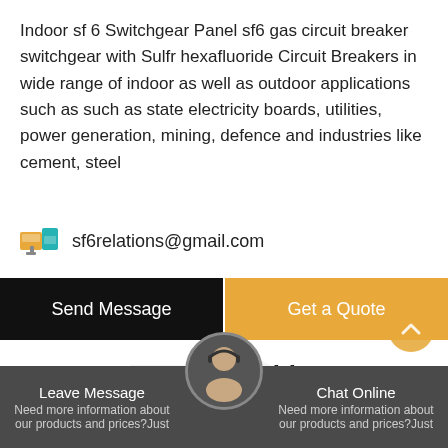Indoor sf 6 Switchgear Panel sf6 gas circuit breaker switchgear with Sulfr hexafluoride Circuit Breakers in wide range of indoor as well as outdoor applications such as such as state electricity boards, utilities, power generation, mining, defence and industries like cement, steel
sf6relations@gmail.com
Send Message
Get a Quote
Stay Touch With Us
Leave Message | Chat Online | Need more information about our products and prices?Just